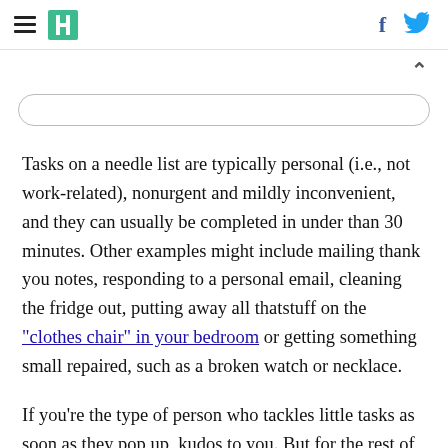HuffPost navigation and social icons
Tasks on a needle list are typically personal (i.e., not work-related), nonurgent and mildly inconvenient, and they can usually be completed in under than 30 minutes. Other examples might include mailing thank you notes, responding to a personal email, cleaning the fridge out, putting away all thatstuff on the “clothes chair” in your bedroom or getting something small repaired, such as a broken watch or necklace.
If you’re the type of person who tackles little tasks as soon as they pop up, kudos to you. But for the rest of